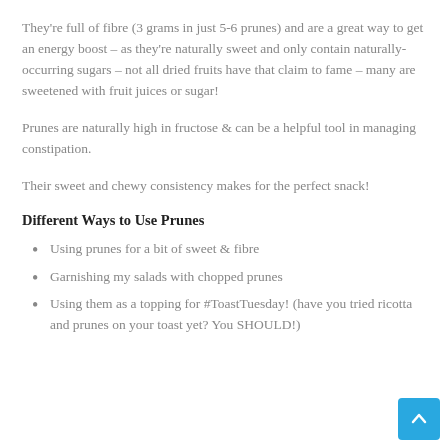They're full of fibre (3 grams in just 5-6 prunes) and are a great way to get an energy boost – as they're naturally sweet and only contain naturally-occurring sugars – not all dried fruits have that claim to fame – many are sweetened with fruit juices or sugar!
Prunes are naturally high in fructose & can be a helpful tool in managing constipation.
Their sweet and chewy consistency makes for the perfect snack!
Different Ways to Use Prunes
Using prunes for a bit of sweet & fibre
Garnishing my salads with chopped prunes
Using them as a topping for #ToastTuesday! (have you tried ricotta and prunes on your toast yet? You SHOULD!)